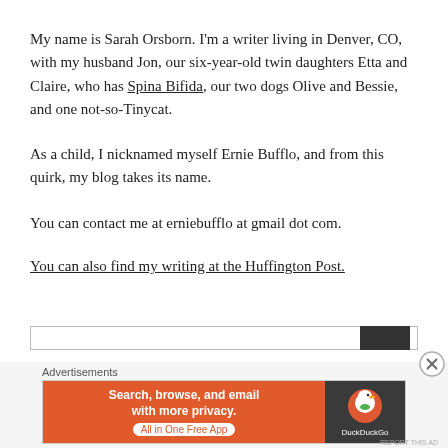My name is Sarah Orsborn. I'm a writer living in Denver, CO, with my husband Jon, our six-year-old twin daughters Etta and Claire, who has Spina Bifida, our two dogs Olive and Bessie, and one not-so-Tinycat.
As a child, I nicknamed myself Ernie Bufflo, and from this quirk, my blog takes its name.
You can contact me at erniebufflo at gmail dot com.
You can also find my writing at the Huffington Post.
[Figure (screenshot): Advertisement banner: DuckDuckGo ad with text 'Search, browse, and email with more privacy. All in One Free App' on orange background with DuckDuckGo duck logo on dark background. Labeled 'Advertisements'.]